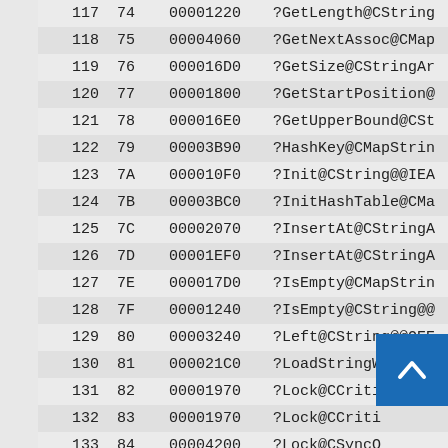| Index | Hex | Address | Symbol |
| --- | --- | --- | --- |
| 117 | 74 | 00001220 | ?GetLength@CString |
| 118 | 75 | 00004060 | ?GetNextAssoc@CMap |
| 119 | 76 | 000016D0 | ?GetSize@CStringAr |
| 120 | 77 | 00001800 | ?GetStartPosition@ |
| 121 | 78 | 000016E0 | ?GetUpperBound@CSt |
| 122 | 79 | 00003B90 | ?HashKey@CMapStrin |
| 123 | 7A | 000010F0 | ?Init@CString@@IEA |
| 124 | 7B | 00003BC0 | ?InitHashTable@CMa |
| 125 | 7C | 00002070 | ?InsertAt@CStringA |
| 126 | 7D | 00001EF0 | ?InsertAt@CStringA |
| 127 | 7E | 000017D0 | ?IsEmpty@CMapStrin |
| 128 | 7F | 00001240 | ?IsEmpty@CString@@ |
| 129 | 80 | 00003240 | ?Left@CString@@AQEE |
| 130 | 81 | 000021C0 | ?LoadStringW@CStri |
| 131 | 82 | 00001970 | ?Lock@CCriticalSec |
| 132 | 83 | 00001970 | ?Lock@CCriti |
| 133 | 84 | 00004200 | ?Lock@CSyncO |
| 134 | 85 | 00002CF0 | ?LockBuffer@CStrin |